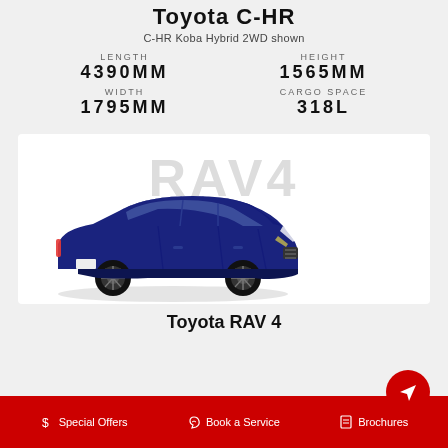Toyota C-HR
C-HR Koba Hybrid 2WD shown
LENGTH 4390MM
HEIGHT 1565MM
WIDTH 1795MM
CARGO SPACE 318L
[Figure (photo): Blue Toyota RAV4 SUV with watermark text RAV4 in background]
Toyota RAV 4
Special Offers   Book a Service   Brochures